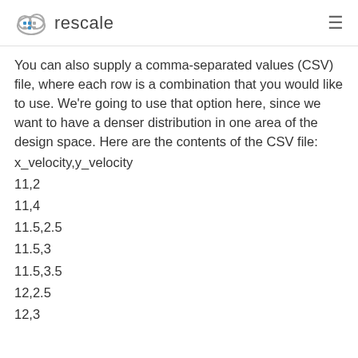rescale
You can also supply a comma-separated values (CSV) file, where each row is a combination that you would like to use. We're going to use that option here, since we want to have a denser distribution in one area of the design space. Here are the contents of the CSV file:
x_velocity,y_velocity
11,2
11,4
11.5,2.5
11.5,3
11.5,3.5
12,2.5
12,3